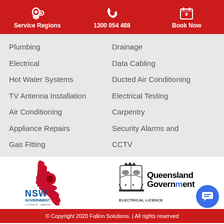Service Regions | 1300 054 488 | Book Now
Plumbing
Drainage
Electrical
Data Cabling
Hot Water Systems
Ducted Air Conditioning
TV Antenna Installation
Electrical Testing
Air Conditioning
Carpentry
Appliance Repairs
Security Alarms and CCTV
Gas Fitting
[Figure (logo): NSW Government logo with waratah flower, text: NSW GOVERNMENT LICENCE: 198622C]
[Figure (logo): Queensland Government coat of arms logo with text: Queensland Government ELECTRICAL LICENCE [number]]
© Copyright 2020 Fallon Solutions. | All rights reserved